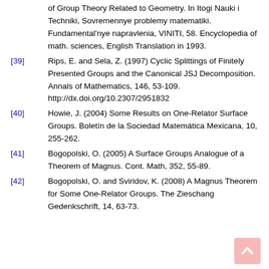of Group Theory Related to Geometry. In Itogi Nauki i Techniki, Sovremennye problemy matematiki. Fundamental'nye napravlenia, VINITI, 58. Encyclopedia of math. sciences, English Translation in 1993.
[39] Rips, E. and Sela, Z. (1997) Cyclic Splittings of Finitely Presented Groups and the Canonical JSJ Decomposition. Annals of Mathematics, 146, 53-109. http://dx.doi.org/10.2307/2951832
[40] Howie, J. (2004) Some Results on One-Relator Surface Groups. Boletín de la Sociedad Matemática Mexicana, 10, 255-262.
[41] Bogopolski, O. (2005) A Surface Groups Analogue of a Theorem of Magnus. Cont. Math, 352, 55-89.
[42] Bogopolski, O. and Sviridov, K. (2008) A Magnus Theorem for Some One-Relator Groups. The Zieschang Gedenkschrift, 14, 63-73.